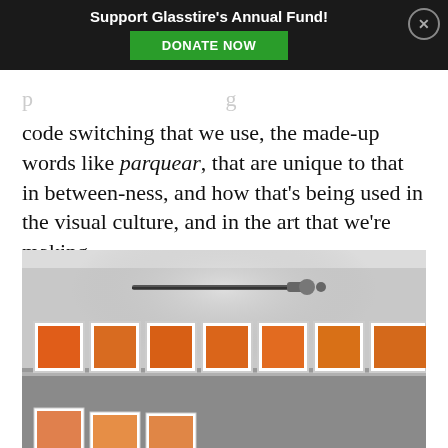Support Glasstire's Annual Fund! DONATE NOW
code switching that we use, the made-up words like parquear, that are unique to that in between-ness, and how that's being used in the visual culture, and in the art that we're making.
[Figure (photo): Gallery wall with a row of framed orange/red artworks mounted on a white wall, with a projector or light fixture above them. Additional row of artworks visible at bottom edge.]